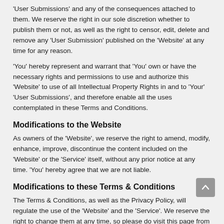'User Submissions' and any of the consequences attached to them. We reserve the right in our sole discretion whether to publish them or not, as well as the right to censor, edit, delete and remove any 'User Submission' published on the 'Website' at any time for any reason.
'You' hereby represent and warrant that 'You' own or have the necessary rights and permissions to use and authorize this 'Website' to use of all Intellectual Property Rights in and to 'Your' 'User Submissions', and therefore enable all the uses contemplated in these Terms and Conditions.
Modifications to the Website
As owners of the 'Website', we reserve the right to amend, modify, enhance, improve, discontinue the content included on the 'Website' or the 'Service' itself, without any prior notice at any time. 'You' hereby agree that we are not liable.
Modifications to these Terms & Conditions
The Terms & Conditions, as well as the Privacy Policy, will regulate the use of the 'Website' and the 'Service'. We reserve the right to change them at any time, so please do visit this page from time to time. We may modify these Terms & Conditions at any time and under our sole discretion by publishing it on the 'Website' or just by obtaining 'Your' consent to the changes made in the case it is required by law.
All changes made to these Terms & Conditions are effective as of the date mentioned on top of following the 'Last Revised' message. By solely continui...